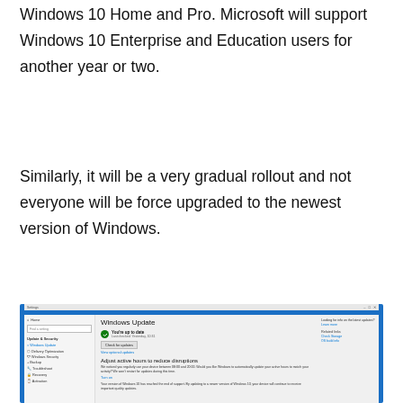The end of service applies only to those using Windows 10 Home and Pro. Microsoft will support Windows 10 Enterprise and Education users for another year or two.
Similarly, it will be a very gradual rollout and not everyone will be force upgraded to the newest version of Windows.
[Figure (screenshot): Screenshot of Windows 10 Settings showing the Windows Update panel. The update status reads 'You're up to date. Last checked: Yesterday, 10:31'. There is a 'Check for updates' button and a 'View optional updates' link. Below is a section 'Adjust active hours to reduce disruptions' with descriptive text and a 'Turn on' link. The left sidebar shows navigation items: Home, Update & Security section including Windows Update, Delivery Optimization, Windows Security, Backup, Troubleshoot, Recovery. The right panel shows links for 'Looking for info on the latest updates? Learn more', 'Related links', 'Check Storage', 'OS build info'. The screenshot is bordered by a blue Windows-style frame.]